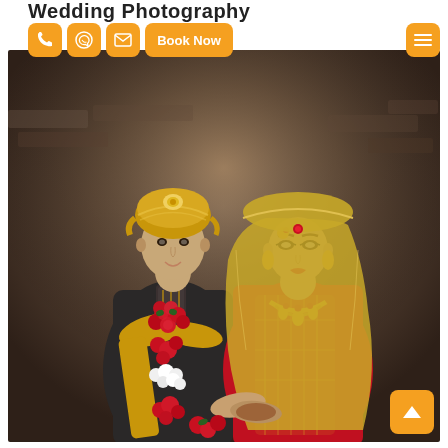Wedding Photography
[Figure (other): Navigation bar with phone icon button, WhatsApp icon button, email icon button, Book Now button, and hamburger menu button — all styled in orange on white background]
[Figure (photo): South Asian wedding couple posing together. The groom wears a black sherwani with gold embroidery and a gold turban, adorned with red rose garlands and white flower garlands. The bride wears a red and gold embroidered bridal outfit with matching veil (dupatta), heavy gold jewelry including necklace, earrings, and maang tikka. They hold hands and look toward the camera. Background shows a stone/brick wall in warm bokeh lighting.]
[Figure (other): Orange scroll-to-top button with upward chevron arrow, positioned at bottom right corner]